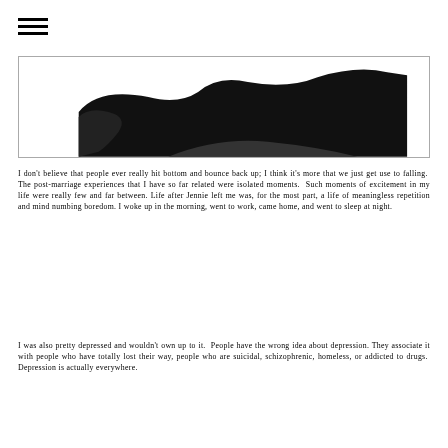[Figure (photo): Partial black and white photograph showing a dark silhouette shape against a light background, cropped and bordered.]
I don't believe that people ever really hit bottom and bounce back up; I think it's more that we just get use to falling.  The post-marriage experiences that I have so far related were isolated moments.  Such moments of excitement in my life were really few and far between. Life after Jennie left me was, for the most part, a life of meaningless repetition and mind numbing boredom. I woke up in the morning, went to work, came home, and went to sleep at night.
I was also pretty depressed and wouldn't own up to it.  People have the wrong idea about depression. They associate it with people who have totally lost their way, people who are suicidal, schizophrenic, homeless, or addicted to drugs.  Depression is actually everywhere.